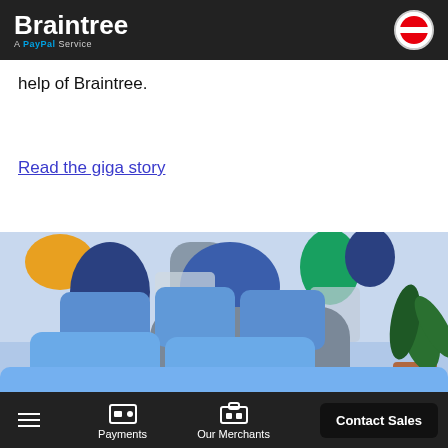Braintree A PayPal Service
help of Braintree.
Read the giga story
[Figure (photo): A bedroom scene with blue pillows and bedding, colorful abstract mural on the wall, and a potted tropical plant on the right side.]
Payments | Our Merchants | Contact Sales